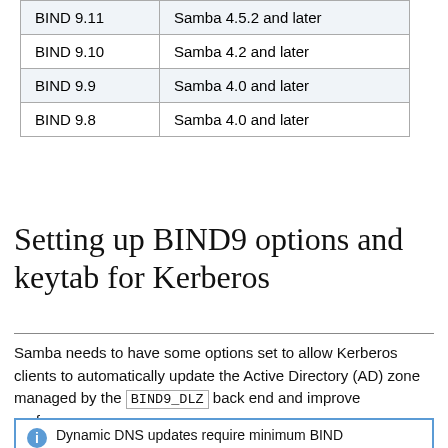| BIND 9.11 | Samba 4.5.2 and later |
| BIND 9.10 | Samba 4.2 and later |
| BIND 9.9 | Samba 4.0 and later |
| BIND 9.8 | Samba 4.0 and later |
Setting up BIND9 options and keytab for Kerberos
Samba needs to have some options set to allow Kerberos clients to automatically update the Active Directory (AD) zone managed by the BIND9_DLZ back end and improve performance.
Dynamic DNS updates require minimum BIND